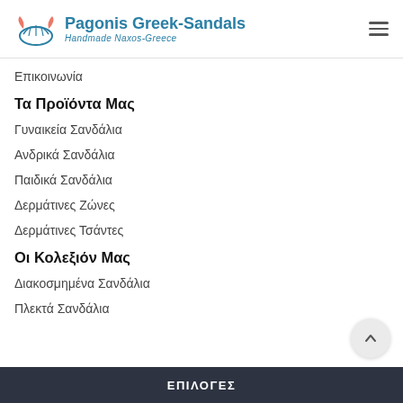Pagonis Greek-Sandals — Handmade Naxos-Greece
Επικοινωνία
Τα Προϊόντα Μας
Γυναικεία Σανδάλια
Ανδρικά Σανδάλια
Παιδικά Σανδάλια
Δερμάτινες Ζώνες
Δερμάτινες Τσάντες
Οι Κολεξιόν Μας
Διακοσμημένα Σανδάλια
Πλεκτά Σανδάλια
ΕΠΙΛΟΓΕΣ